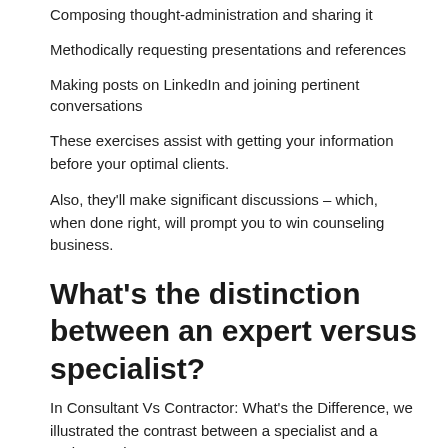Composing thought-administration and sharing it
Methodically requesting presentations and references
Making posts on LinkedIn and joining pertinent conversations
These exercises assist with getting your information before your optimal clients.
Also, they’ll make significant discussions – which, when done right, will prompt you to win counseling business.
What’s the distinction between an expert versus specialist?
In Consultant Vs Contractor: What’s the Difference, we illustrated the contrast between a specialist and a project worker.
Notwithstanding...